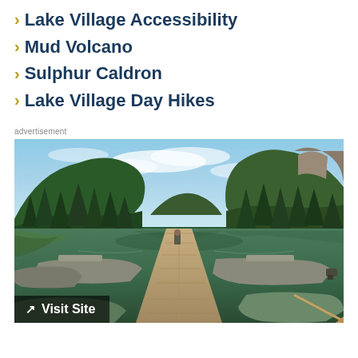Lake Village Accessibility
Mud Volcano
Sulphur Caldron
Lake Village Day Hikes
advertisement
[Figure (photo): A scenic lake with a wooden dock extending into calm reflective water, surrounded by pine-forested hills and rocky cliffs under a partly cloudy blue sky. Several small motorboats and a canoe are moored at the dock.]
Visit Site